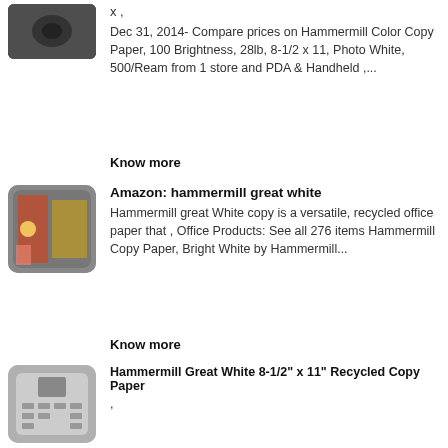[Figure (photo): Small thumbnail image of a dark object, partially visible at top of page]
x ,
Dec 31, 2014- Compare prices on Hammermill Color Copy Paper, 100 Brightness, 28lb, 8-1/2 x 11, Photo White, 500/Ream from 1 store and PDA & Handheld ,...
Know more
[Figure (photo): Thumbnail image of a worker in yellow safety gear]
Amazon: hammermill great white
Hammermill great White copy is a versatile, recycled office paper that , Office Products: See all 276 items Hammermill Copy Paper, Bright White by Hammermill...
Know more
[Figure (photo): Thumbnail image of electronic circuit board or device]
Hammermill Great White 8-1/2" x 11" Recycled Copy Paper
,
Hammermill Great White Recycled Copy Paper, 92" Brightness, 20 lb, 85" x 11", 2500 Sheets, Equivalent to 5 Reams, Express Pack In Box Only (Not Individual Reams)...
Know more